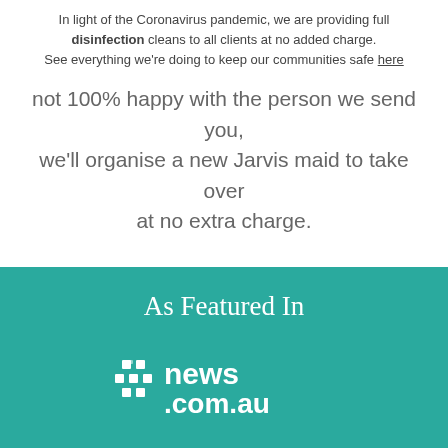In light of the Coronavirus pandemic, we are providing full disinfection cleans to all clients at no added charge. See everything we're doing to keep our communities safe here
not 100% happy with the person we send you, we'll organise a new Jarvis maid to take over at no extra charge.
As Featured In
[Figure (logo): news.com.au logo in white on teal background]
[Figure (logo): The Saturday Paper logo in white on teal background]